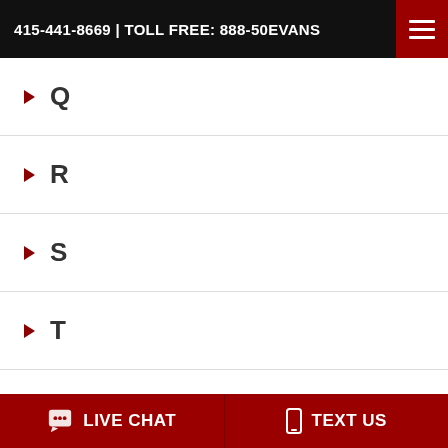415-441-8669 | TOLL FREE: 888-50EVANS
Q
R
S
T
U
V
W
Select One
LIVE CHAT  TEXT US